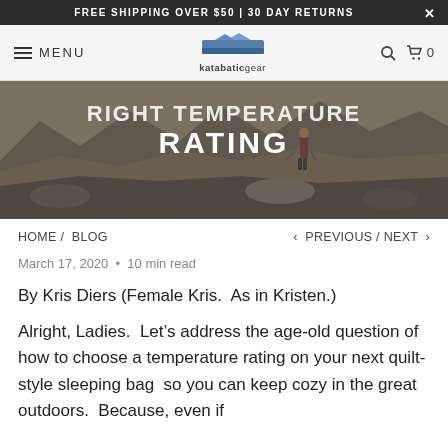FREE SHIPPING OVER $50 | 30 DAY RETURNS
MENU katabaticgear
[Figure (photo): Hero image of a hiker walking on a rocky mountain trail with mountains in background. Overlaid white text reads 'RIGHT TEMPERATURE RATING']
HOME / BLOG < PREVIOUS / NEXT >
March 17, 2020 • 10 min read
By Kris Diers (Female Kris. As in Kristen.)
Alright, Ladies. Let's address the age-old question of how to choose a temperature rating on your next quilt-style sleeping bag so you can keep cozy in the great outdoors. Because, even if